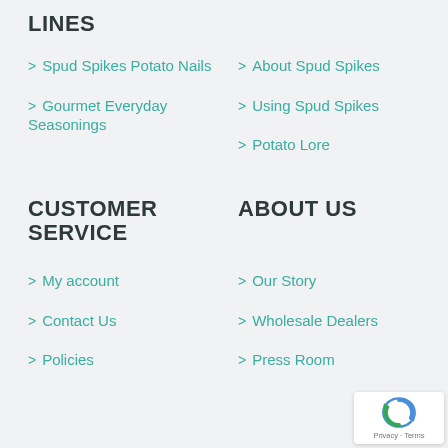LINES
> Spud Spikes Potato Nails
> Gourmet Everyday Seasonings
> About Spud Spikes
> Using Spud Spikes
> Potato Lore
CUSTOMER SERVICE
ABOUT US
> My account
> Contact Us
> Policies
> Our Story
> Wholesale Dealers
> Press Room